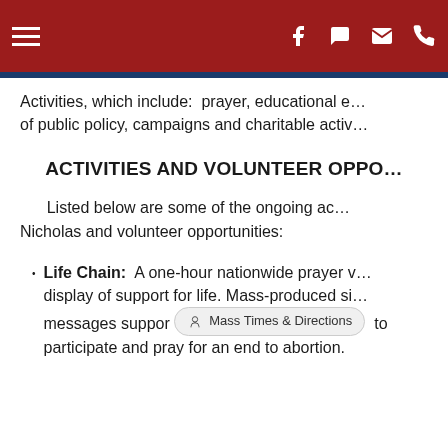Navigation header with hamburger menu and social icons (Facebook, chat, email, phone)
Activities, which include:  prayer, educational e… of public policy, campaigns and charitable activ…
ACTIVITIES AND VOLUNTEER OPPO…
Listed below are some of the ongoing ac… Nicholas and volunteer opportunities:
Life Chain:  A one-hour nationwide prayer v… display of support for life. Mass-produced si… messages suppor… to participate and pray for an end to abortion.